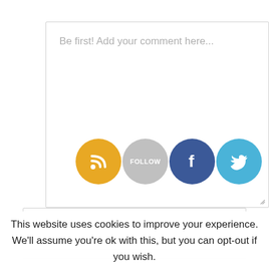[Figure (screenshot): Comment text area with placeholder text 'Be first! Add your comment here...' and social share icons (RSS, Follow, Facebook, Twitter) and a resize handle]
Be first! Add your comment here...
Name (Required)
This website uses cookies to improve your experience. We'll assume you're ok with this, but you can opt-out if you wish.
Accept
Read More